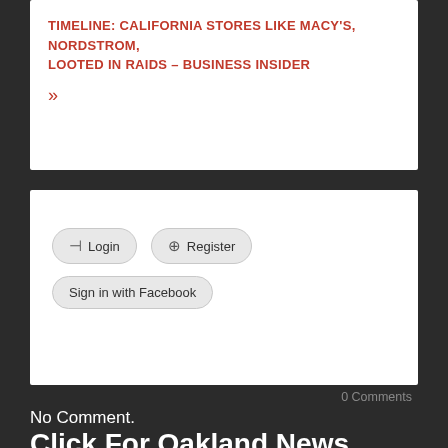TIMELINE: CALIFORNIA STORES LIKE MACY'S, NORDSTROM, LOOTED IN RAIDS – BUSINESS INSIDER
»
[Figure (screenshot): Login/Register widget with Login button, Register button, and Sign in with Facebook button on a white card]
0 Comments
No Comment.
Click For Oakland News Online Home Main News Stream Section
Oakland News Online - Recent Posts